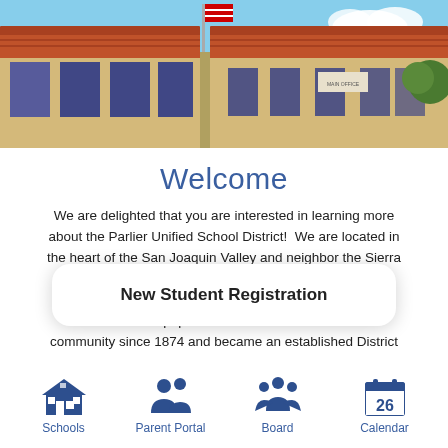[Figure (photo): School building with terracotta roof tiles and blue trimmed doors/windows, flagpole visible, blue sky with clouds in background]
Welcome
We are delighted that you are interested in learning more about the Parlier Unified School District!  We are located in the heart of the San Joaquin Valley and neighbor the Sierra Nevada mo[untains. Our district]t spans 20 squ[are miles and serves] a population ba[sed in our] ur community since 1874 and became an established District
New Student Registration
[Figure (infographic): Navigation bar with four icons: Schools (school building icon), Parent Portal (two people icon), Board (group of people icon), Calendar (calendar with 26 icon). All icons in dark blue.]